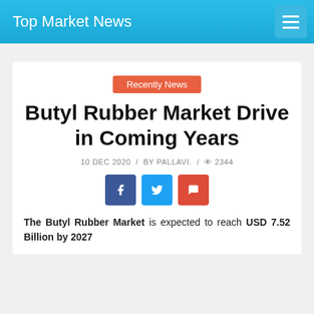Top Market News
Recently News
Butyl Rubber Market Drive in Coming Years
10 DEC 2020 / BY PALLAVI. / 2344
The Butyl Rubber Market is expected to reach USD 7.52 Billion by 2027